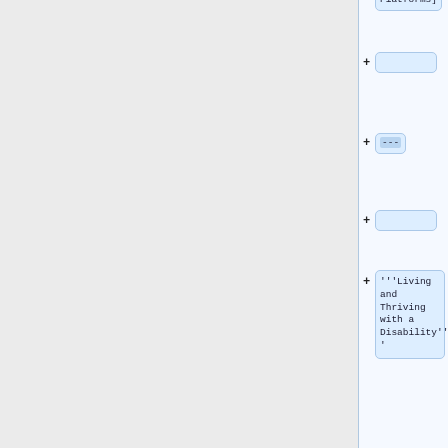Platforms]
(empty block)
---
(empty block)
'''Living and Thriving with a Disability'''
(empty block)
June 3, 2021
(empty block)
''Presenter: '' <br/>Johan Rempel,